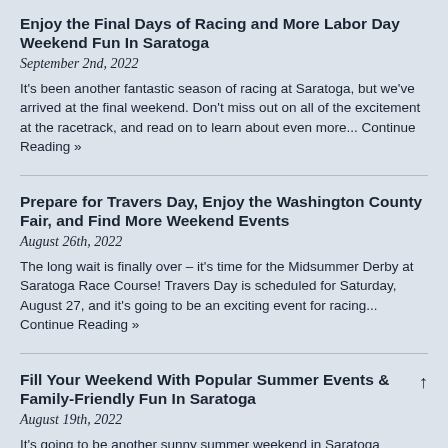Enjoy the Final Days of Racing and More Labor Day Weekend Fun In Saratoga
September 2nd, 2022
It's been another fantastic season of racing at Saratoga, but we've arrived at the final weekend. Don't miss out on all of the excitement at the racetrack, and read on to learn about even more... Continue Reading »
Prepare for Travers Day, Enjoy the Washington County Fair, and Find More Weekend Events
August 26th, 2022
The long wait is finally over – it's time for the Midsummer Derby at Saratoga Race Course! Travers Day is scheduled for Saturday, August 27, and it's going to be an exciting event for racing... Continue Reading »
Fill Your Weekend With Popular Summer Events & Family-Friendly Fun In Saratoga
August 19th, 2022
It's going to be another sunny summer weekend in Saratoga Springs, so remember to stay cool while you're out having fun. Wondering what's going on? We've